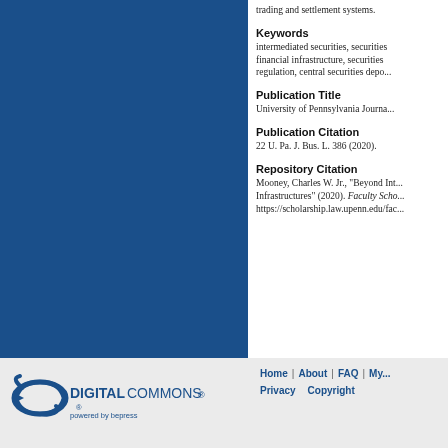[Figure (illustration): Dark blue rectangular panel occupying the left portion of the page]
trading and settlement systems.
Keywords
intermediated securities, securities financial infrastructure, securities regulation, central securities depo...
Publication Title
University of Pennsylvania Journa...
Publication Citation
22 U. Pa. J. Bus. L. 386 (2020).
Repository Citation
Mooney, Charles W. Jr., "Beyond Int... Infrastructures" (2020). Faculty Scho... https://scholarship.law.upenn.edu/fac...
[Figure (logo): Digital Commons powered by bepress logo]
Home | About | FAQ | My... Privacy  Copyright